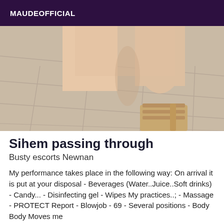MAUDEOFFICIAL
[Figure (photo): Close-up photo of a person's bare legs standing on white tile floor, wearing strappy beige/gold heeled sandals.]
Sihem passing through
Busty escorts Newnan
My performance takes place in the following way: On arrival it is put at your disposal - Beverages (Water..Juice..Soft drinks) - Candy... - Disinfecting gel - Wipes My practices..; - Massage - PROTECT Report - Blowjob - 69 - Several positions - Body Body Moves me